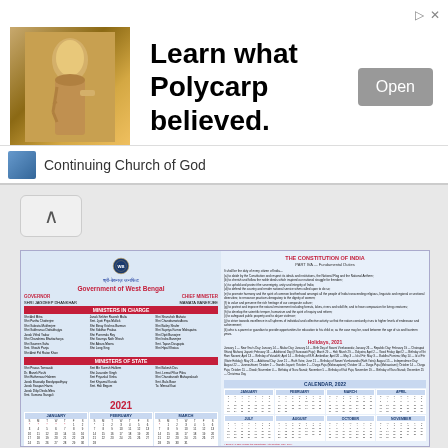[Figure (photo): Advertisement banner: 'Learn what Polycarp believed.' with statue image and Open button, from Continuing Church of God]
Continuing Church of God
[Figure (other): Navigation up-arrow button]
[Figure (other): Government of West Bengal 2021 calendar with Constitution of India text, ministers list, holidays, and 2022 calendar grid]